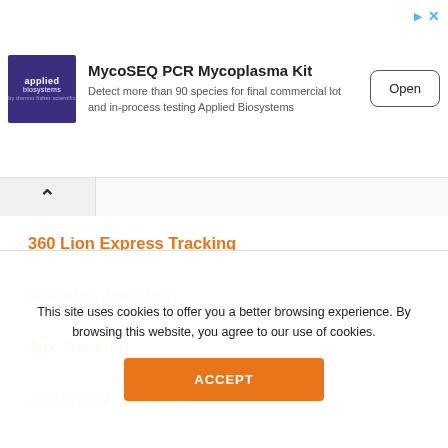[Figure (other): Applied Biosystems advertisement banner for MycoSEQ PCR Mycoplasma Kit with logo, description text, and Open button]
360 Lion Express Tracking
360zebra Tracking
4px Tracking
7-ELEVEN Tracking
This site uses cookies to offer you a better browsing experience. By browsing this website, you agree to our use of cookies.